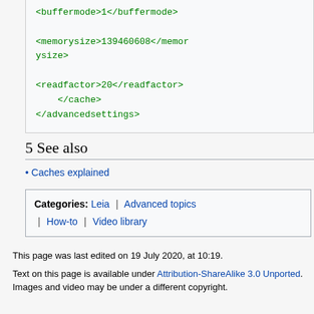[Figure (screenshot): XML code snippet showing <buffermode>1</buffermode>, <memorysize>139460608</memorysize>, <readfactor>20</readfactor>, </cache>, </advancedsettings> in green monospace font on a light gray background box]
5 See also
Caches explained
Categories:  Leia | Advanced topics | How-to | Video library
This page was last edited on 19 July 2020, at 10:19.
Text on this page is available under Attribution-ShareAlike 3.0 Unported. Images and video may be under a different copyright.